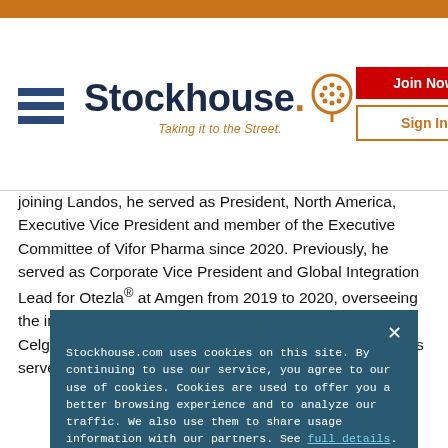Stockhouse - Taking it to the Street.
joining Landos, he served as President, North America, Executive Vice President and member of the Executive Committee of Vifor Pharma since 2020. Previously, he served as Corporate Vice President and Global Integration Lead for Otezla® at Amgen from 2019 to 2020, overseeing the integration of the $2 billion brand acquired from Celgene, and positioning it for sustained growth. Mr. Oakes served as Corporate Vice President and US General M... to... bi... di... po... s, N... P... he... on
Stockhouse.com uses cookies on this site. By continuing to use our service, you agree to our use of cookies. Cookies are used to offer you a better browsing experience and to analyze our traffic. We also use them to share usage information with our partners. See full details.